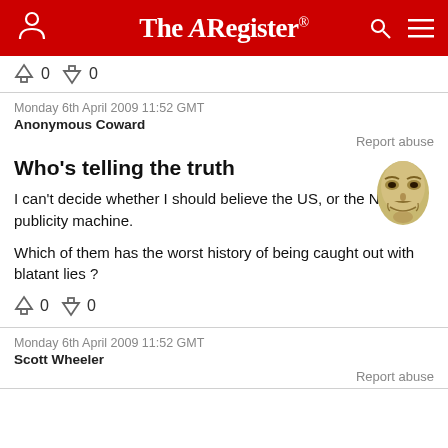The Register
↑0 ↓0
Monday 6th April 2009 11:52 GMT
Anonymous Coward
Report abuse
Who's telling the truth
I can't decide whether I should believe the US, or the NorK publicity machine.

Which of them has the worst history of being caught out with blatant lies ?
↑0 ↓0
Monday 6th April 2009 11:52 GMT
Scott Wheeler
Report abuse